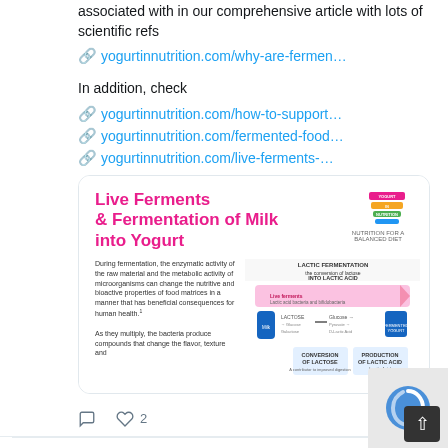associated with in our comprehensive article with lots of scientific refs
yogurtinnutrition.com/why-are-fermen…
In addition, check
yogurtinnutrition.com/how-to-support…
yogurtinnutrition.com/fermented-food…
yogurtinnutrition.com/live-ferments-…
[Figure (infographic): Infographic titled 'Live Ferments & Fermentation of Milk into Yogurt' with Yogurt in Nutrition logo. Shows text about enzymatic activity during fermentation and a diagram of lactic fermentation process converting lactose into lactic acid, with arrows and icons showing conversion stages.]
2 likes
You Retweeted
Yogurt in ...
@Yogur…
Aug 29
In addition to reading our dedicated thread